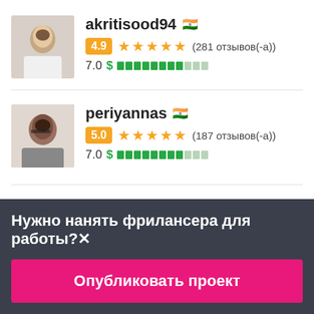[Figure (photo): Profile photo of akritisood94 — partial top portion visible, person in white top]
akritisood94 🇮🇳
4.9 ★★★★★ (281 отзывов(-а))
7.0 $ ████████░░░
[Figure (photo): Profile photo of periyannas — man with glasses]
periyannas 🇮🇳
5.0 ★★★★★ (187 отзывов(-а))
7.0 $ ████████░░░
Нужно нанять фрилансера для работы?✕
Опубликовать проект